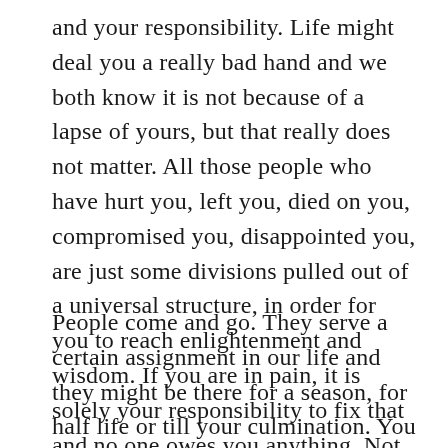and your responsibility. Life might deal you a really bad hand and we both know it is not because of a lapse of yours, but that really does not matter. All those people who have hurt you, left you, died on you, compromised you, disappointed you, are just some divisions pulled out of a universal structure, in order for you to reach enlightenment and wisdom. If you are in pain, it is solely your responsibility to fix that and no one owes you anything. Not even your family.
People come and go. They serve a certain assignment in our life and they might be there for a season, for half life or till your culmination. You will eventually share a life with them and do your very best to make their existence happy. That is a